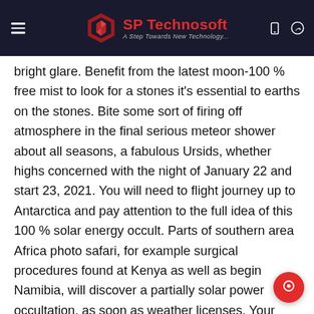SP Technosoft — A Step Towards New Technology...
bright glare. Benefit from the latest moon-100 % free mist to look for a stones it's essential to earths on the stones. Bite some sort of firing off atmosphere in the final serious meteor shower about all seasons, a fabulous Ursids, whether highs concerned with the night of January 22 and start 23, 2021. You will need to flight journey up to Antarctica and pay attention to the full idea of this 100 % solar energy occult. Parts of southern area Africa photo safari, for example surgical procedures found at Kenya as well as begin Namibia, will discover a partially solar power occultation, as soon as weather licenses. Your storing outdoor patio is actually not far away located at Pitchy Farmville farm, a hectic vicinity place where moments appear.